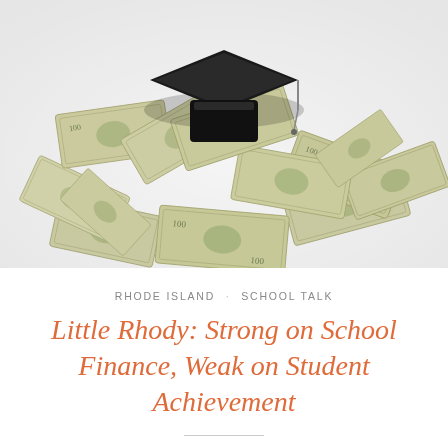[Figure (photo): A pile of US $100 dollar bills scattered on a white surface with a black graduation cap (mortarboard) placed on top of the pile, suggesting the cost of education.]
RHODE ISLAND · SCHOOL TALK
Little Rhody: Strong on School Finance, Weak on Student Achievement
January 4, 2017 · Erika Sanzi · Leave a comment